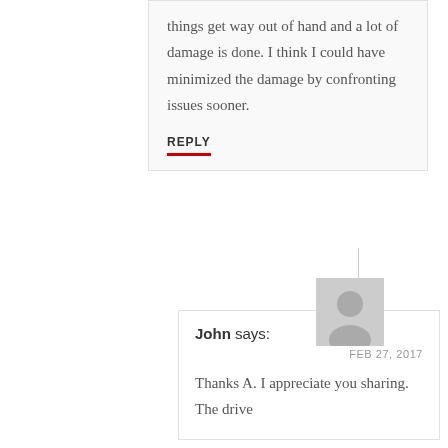things get way out of hand and a lot of damage is done. I think I could have minimized the damage by confronting issues sooner.
REPLY
[Figure (illustration): Default user avatar — grey silhouette of a person on a grey background]
John says:
FEB 27, 2017
Thanks A. I appreciate you sharing. The drive